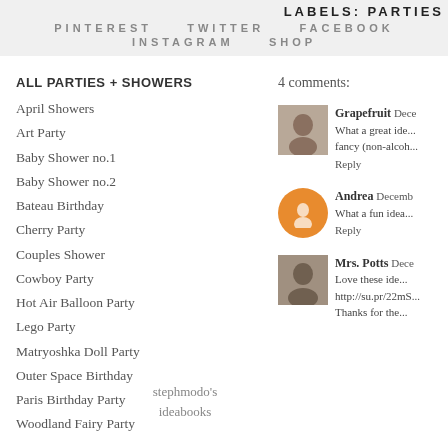LABELS: PARTIES
PINTEREST   TWITTER   FACEBOOK   INSTAGRAM   SHOP
ALL PARTIES + SHOWERS
April Showers
Art Party
Baby Shower no.1
Baby Shower no.2
Bateau Birthday
Cherry Party
Couples Shower
Cowboy Party
Hot Air Balloon Party
Lego Party
Matryoshka Doll Party
Outer Space Birthday
Paris Birthday Party
Woodland Fairy Party
4 comments:
Grapefruit Dece... What a great ide... fancy (non-alcoh... Reply
Andrea Decemb... What a fun idea... Reply
Mrs. Potts Dece... Love these ide... http://su.pr/22mS... Thanks for the...
stephmodo's ideabooks